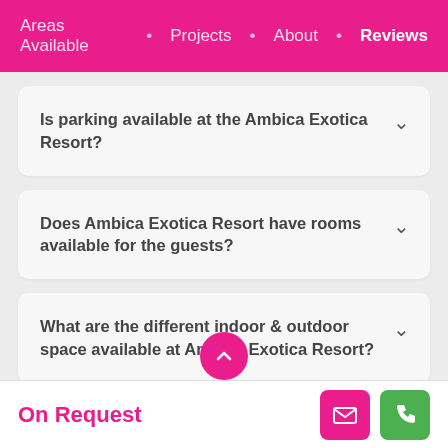Areas Available • Projects • About • Reviews
Is parking available at the Ambica Exotica Resort?
Does Ambica Exotica Resort have rooms available for the guests?
What are the different indoor & outdoor space available at Ambica Exotica Resort?
What is Ambica Exotica Resort's policy on catering?
On Request